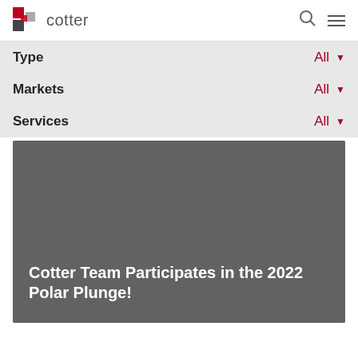cotter
Type  All
Markets  All
Services  All
Cotter Team Participates in the 2022 Polar Plunge!